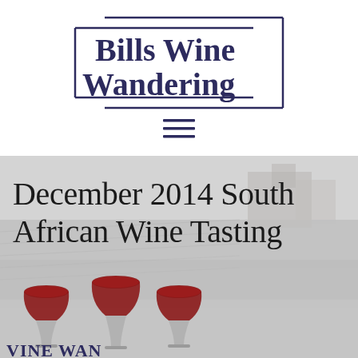[Figure (logo): Bills Wine Wandering logo with decorative rectangular border lines in dark navy color]
[Figure (other): Hamburger menu icon (three horizontal lines) in dark navy]
December 2014 South African Wine Tasting
[Figure (logo): Wine Wande(ring) logo with three red wine glasses at the bottom of the hero image]